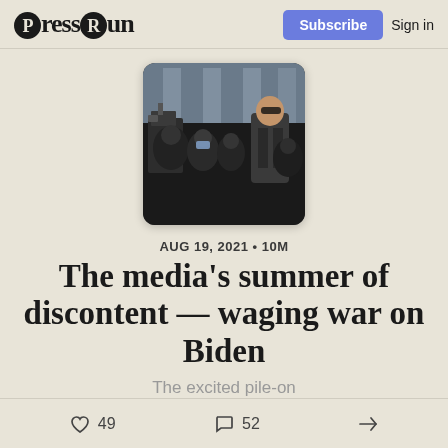PressRun — Subscribe  Sign in
[Figure (photo): A crowd of journalists with cameras surrounding a figure in a suit, outdoors near a building with columns.]
AUG 19, 2021 • 10M
The media's summer of discontent — waging war on Biden
The excited pile-on
❤ 49   💬 52   ➦